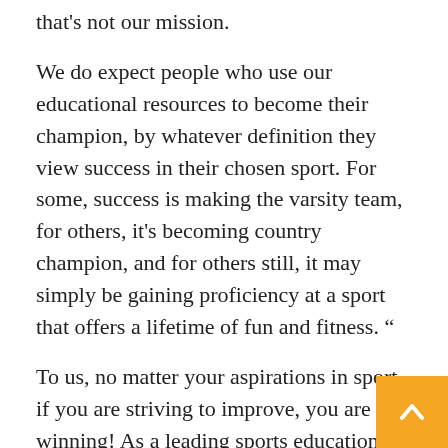that's not our mission.
We do expect people who use our educational resources to become their champion, by whatever definition they view success in their chosen sport. For some, success is making the varsity team, for others, it's becoming country champion, and for others still, it may simply be gaining proficiency at a sport that offers a lifetime of fun and fitness. “
To us, no matter your aspirations in sport, if you are striving to improve, you are winning! As a leading sports education media company, we provide FREE video and blog content to anyone in the world with an internet connection.
We also offer a global online community, where athletes, parents, and coaches can interact, connect, chat, share content and find new friends.